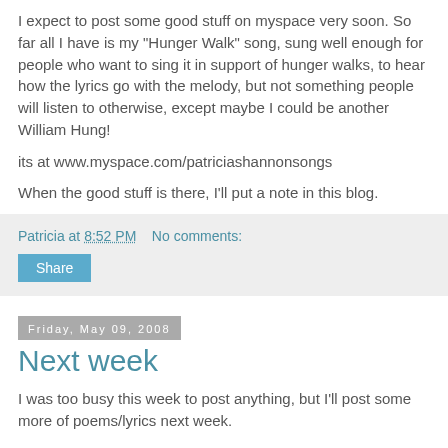I expect to post some good stuff on myspace very soon. So far all I have is my "Hunger Walk" song, sung well enough for people who want to sing it in support of hunger walks, to hear how the lyrics go with the melody, but not something people will listen to otherwise, except maybe I could be another William Hung!
its at www.myspace.com/patriciashannonsongs
When the good stuff is there, I'll put a note in this blog.
Patricia at 8:52 PM   No comments:
Share
Friday, May 09, 2008
Next week
I was too busy this week to post anything, but I'll post some more of poems/lyrics next week.